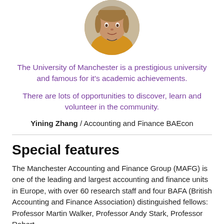[Figure (photo): Circular cropped photo of a person wearing a yellow top, shown from shoulders up against a blurred background.]
The University of Manchester is a prestigious university and famous for it's academic achievements.

There are lots of opportunities to discover, learn and volunteer in the community.
Yining Zhang / Accounting and Finance BAEcon
Special features
The Manchester Accounting and Finance Group (MAFG) is one of the leading and largest accounting and finance units in Europe, with over 60 research staff and four BAFA (British Accounting and Finance Association) distinguished fellows: Professor Martin Walker, Professor Andy Stark, Professor Robert